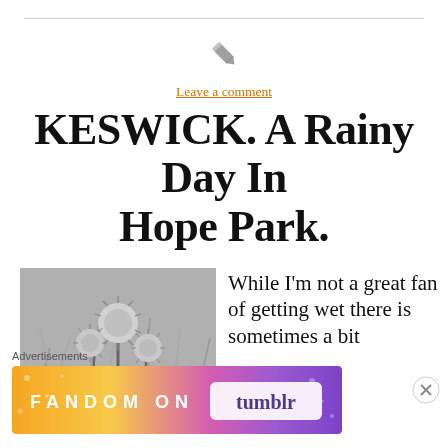[Figure (other): Gray pencil/edit icon]
Leave a comment
KESWICK. A Rainy Day In Hope Park.
[Figure (photo): Black and white photograph of spiky thistle-like plants with round seed heads]
While I’m not a great fan of getting wet there is sometimes a bit
Advertisements
[Figure (other): FANDOM ON tumblr colorful advertisement banner with orange, yellow, pink, purple gradient and white text]